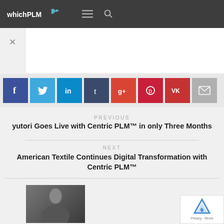whichPLM
[Figure (screenshot): Social sharing buttons row: Facebook (f), Twitter (bird), LinkedIn (in), Tumblr (t), Google+ (g+), Pinterest (p), VK (VK), Email (envelope)]
PREVIOUS
yutori Goes Live with Centric PLM™ in only Three Months
NEXT
American Textile Continues Digital Transformation with Centric PLM™
[Figure (photo): Black and white portrait photo of a woman]